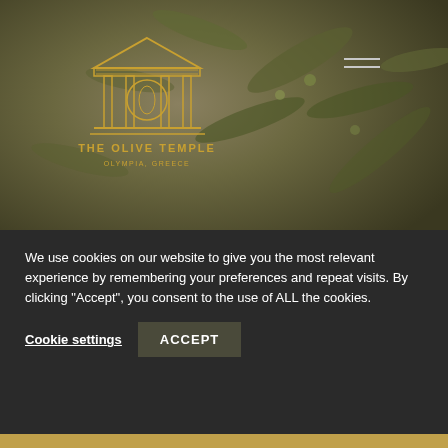[Figure (photo): Background photo of olive branches with green olives, muted olive-green and golden tones]
[Figure (logo): The Olive Temple logo - golden Greek temple illustration above text 'THE OLIVE TEMPLE' and 'OLYMPIA, GREECE']
[Figure (other): Hamburger menu icon - three horizontal lines in top right corner]
We use cookies on our website to give you the most relevant experience by remembering your preferences and repeat visits. By clicking "Accept", you consent to the use of ALL the cookies.
Cookie settings
ACCEPT
PRODUCTS